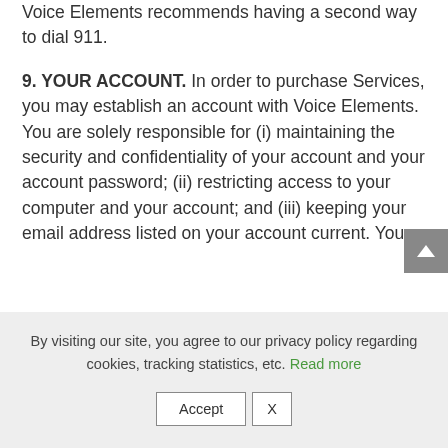Voice Elements recommends having a second way to dial 911.
9. YOUR ACCOUNT. In order to purchase Services, you may establish an account with Voice Elements. You are solely responsible for (i) maintaining the security and confidentiality of your account and your account password; (ii) restricting access to your computer and your account; and (iii) keeping your email address listed on your account current. You
By visiting our site, you agree to our privacy policy regarding cookies, tracking statistics, etc. Read more